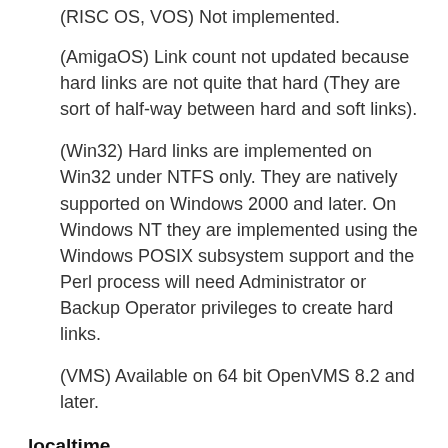(RISC OS, VOS) Not implemented.
(AmigaOS) Link count not updated because hard links are not quite that hard (They are sort of half-way between hard and soft links).
(Win32) Hard links are implemented on Win32 under NTFS only. They are natively supported on Windows 2000 and later. On Windows NT they are implemented using the Windows POSIX subsystem support and the Perl process will need Administrator or Backup Operator privileges to create hard links.
(VMS) Available on 64 bit OpenVMS 8.2 and later.
localtime
localtime has the same range as "gmtime", but because time zone rules change, its accuracy for historical and future times may degrade but usually by no more than an hour.